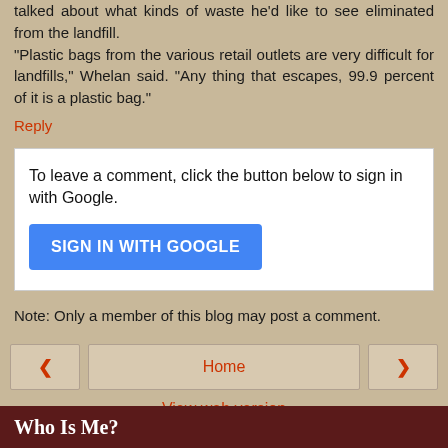talked about what kinds of waste he'd like to see eliminated from the landfill. "Plastic bags from the various retail outlets are very difficult for landfills," Whelan said. "Any thing that escapes, 99.9 percent of it is a plastic bag."
Reply
To leave a comment, click the button below to sign in with Google.
[Figure (screenshot): Blue 'SIGN IN WITH GOOGLE' button]
Note: Only a member of this blog may post a comment.
[Figure (screenshot): Navigation bar with back arrow, Home button, and forward arrow, plus 'View web version' link]
Who Is Me?